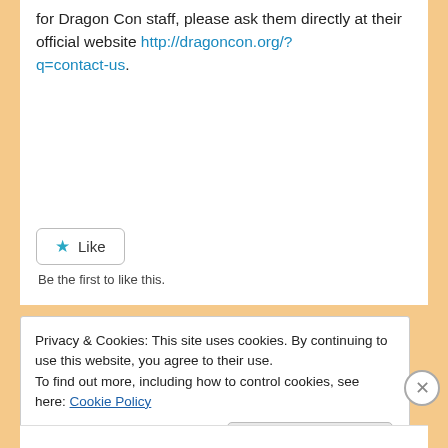for Dragon Con staff, please ask them directly at their official website http://dragoncon.org/?q=contact-us.
[Figure (other): Like button widget with a star icon and the label 'Like', followed by text 'Be the first to like this.']
Privacy & Cookies: This site uses cookies. By continuing to use this website, you agree to their use.
To find out more, including how to control cookies, see here: Cookie Policy
Close and accept